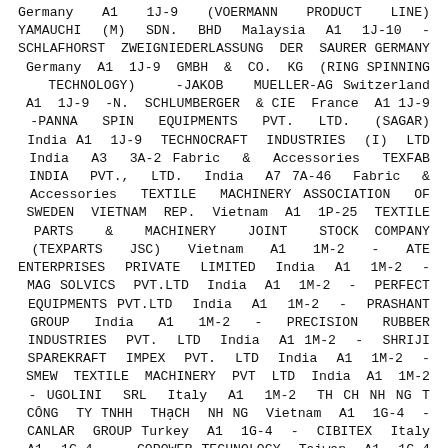Germany A1 1J-9 (VOERMANN PRODUCT LINE) YAMAUCHI (M) SDN. BHD Malaysia A1 1J-10 - SCHLAFHORST ZWEIGNIEDERLASSUNG DER SAURER GERMANY Germany A1 1J-9 GMBH & CO. KG (RING SPINNING TECHNOLOGY) -JAKOB MUELLER-AG Switzerland A1 1J-9 -N. SCHLUMBERGER & CIE France A1 1J-9 -PANNA SPIN EQUIPMENTS PVT. LTD. (SAGAR) India A1 1J-9 TECHNOCRAFT INDUSTRIES (I) LTD India A3 3A-2 Fabric & Accessories TEXFAB INDIA PVT., LTD. India A7 7A-46 Fabric & Accessories TEXTILE MACHINERY ASSOCIATION OF SWEDEN VIETNAM REP. Vietnam A1 1P-25 TEXTILE PARTS & MACHINERY JOINT STOCK COMPANY (TEXPARTS JSC) Vietnam A1 1M-2 - ATE ENTERPRISES PRIVATE LIMITED India A1 1M-2 - MAG SOLVICS PVT.LTD India A1 1M-2 - PERFECT EQUIPMENTS PVT.LTD India A1 1M-2 - PRASHANT GROUP India A1 1M-2 - PRECISION RUBBER INDUSTRIES PVT. LTD India A1 1M-2 - SHRIJI SPAREKRAFT IMPEX PVT. LTD India A1 1M-2 - SMEW TEXTILE MACHINERY PVT LTD India A1 1M-2 - UGOLINI SRL Italy A1 1M-2 TH CH NH NG T CÔNG TY TNHH THẠCH NH NG Vietnam A1 1G-4 - CANLAR GROUP Turkey A1 1G-4 - CIBITEX Italy A1 1G-4 - COPOWER TECHNOLOGY Taiwan A1 1G-4 - EFFE Turkey A1 1G-4 -